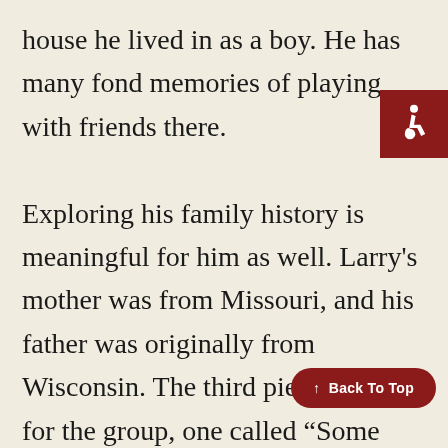house he lived in as a boy. He has many fond memories of playing with friends there.

Exploring his family history is meaningful for him as well. Larry's mother was from Missouri, and his father was originally from Wisconsin. The third piece he read for the group, one called “Some Past as Prologue,” explains why his family came in Anna.
[Figure (illustration): Accessibility (wheelchair) icon in white on a dark red square background, positioned top right of the page.]
↑ Back To Top